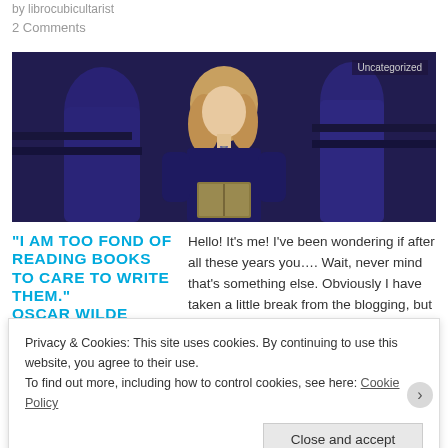by librocubicultarist
2 Comments
[Figure (photo): A girl with curly hair in a dark blue/purple school uniform holding a book, standing in what appears to be a school hall. A badge in the top right reads 'Uncategorized'.]
“I AM TOO FOND OF READING BOOKS TO CARE TO WRITE THEM.” OSCAR WILDE
Hello! It’s me! I’ve been wondering if after all these years you…. Wait, never mind that’s something else. Obviously I have taken a little break from the blogging, but I’m […]
Privacy & Cookies: This site uses cookies. By continuing to use this website, you agree to their use.
To find out more, including how to control cookies, see here: Cookie Policy
Close and accept